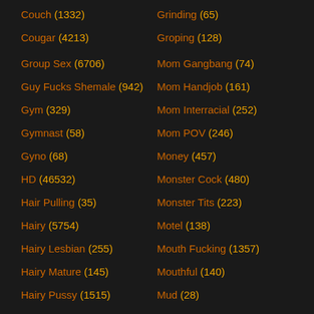Couch (1332)
Grinding (65)
Cougar (4213)
Groping (128)
Group Sex (6706)
Mom Gangbang (74)
Guy Fucks Shemale (942)
Mom Handjob (161)
Gym (329)
Mom Interracial (252)
Gymnast (58)
Mom POV (246)
Gyno (68)
Money (457)
HD (46532)
Monster Cock (480)
Hair Pulling (35)
Monster Tits (223)
Hairy (5754)
Motel (138)
Hairy Lesbian (255)
Mouth Fucking (1357)
Hairy Mature (145)
Mouthful (140)
Hairy Pussy (1515)
Mud (28)
Hairy Teen (720)
Muff Diving (56)
Handcuffs (92)
Muscled (220)
Handjob (7812)
Music (482)